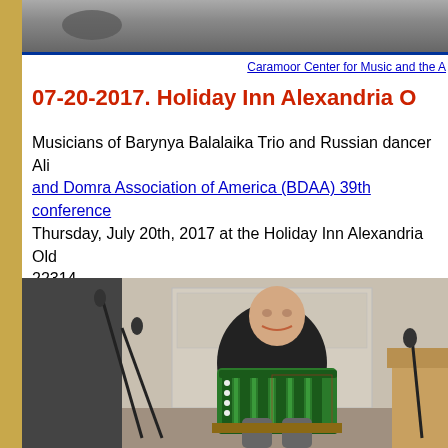[Figure (photo): Top portion of a photo, partially cropped, showing what appears to be a dark surface with a circular object]
Caramoor Center for Music and the A
07-20-2017. Holiday Inn Alexandria O
Musicians of Barynya Balalaika Trio and Russian dancer Ali and Domra Association of America (BDAA) 39th conference Thursday, July 20th, 2017 at the Holiday Inn Alexandria Old 22314.
[Figure (photo): A man sitting and playing a green accordion/bayan, wearing a black shirt, with microphone stands in front of him, in what appears to be a conference or performance room]